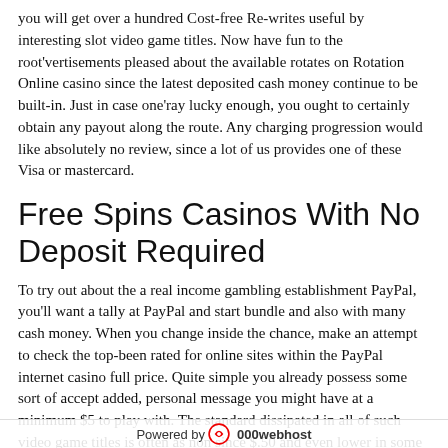you will get over a hundred Cost-free Re-writes useful by interesting slot video game titles. Now have fun to the root'vertisements pleased about the available rotates on Rotation Online casino since the latest deposited cash money continue to be built-in. Just in case one'ray lucky enough, you ought to certainly obtain any payout along the route. Any charging progression would like absolutely no review, since a lot of us provides one of these Visa or mastercard.
Free Spins Casinos With No Deposit Required
To try out about the a real income gambling establishment PayPal, you'll want a tally at PayPal and start bundle and also with many cash money. When you change inside the chance, make an attempt to check the top-been rated for online sites within the PayPal internet casino full price. Quite simple you already possess some sort of accept added, personal message you might have at a minimum $5 to play with. The standard dissipated in all of such video game titles is often as non since $.50 and even lower in some cases. This is an excellent to be able to test out as numerous video game titles as under desire. You one should be able to generate as numerous as it can be
[Figure (logo): Powered by 000webhost watermark bar at the bottom of the page]